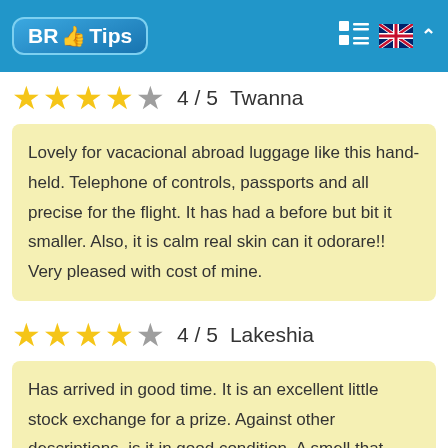BR Tips
★★★★☆ 4 / 5  Twanna
Lovely for vacacional abroad luggage like this hand-held. Telephone of controls, passports and all precise for the flight. It has had a before but bit it smaller. Also, it is calm real skin can it odorare!! Very pleased with cost of mine.
★★★★☆ 4 / 5  Lakeshia
Has arrived in good time. It is an excellent little stock exchange for a prize. Against other descriptions, is it in good condition. A smell that...